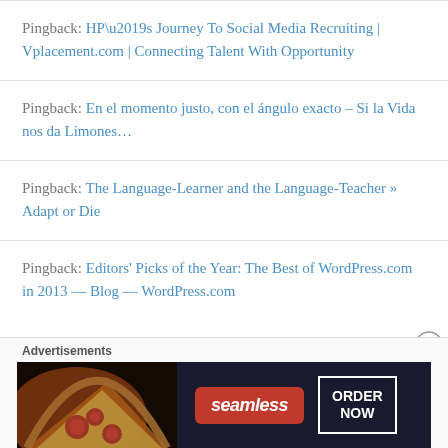Pingback: HP’s Journey To Social Media Recruiting | Vplacement.com | Connecting Talent With Opportunity
Pingback: En el momento justo, con el ángulo exacto – Si la Vida nos da Limones…
Pingback: The Language-Learner and the Language-Teacher » Adapt or Die
Pingback: Editors’ Picks of the Year: The Best of WordPress.com in 2013 — Blog — WordPress.com
[Figure (infographic): Advertisements banner with Seamless pizza delivery ad showing pizza image, seamless logo in red, and ORDER NOW button in white border box on dark background]